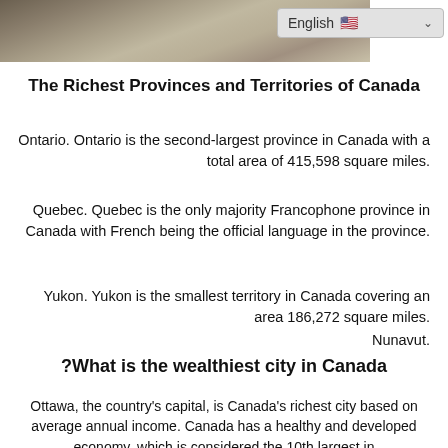[Figure (photo): Sepia/grayscale landscape photo showing trees and countryside, partially visible at top of page]
The Richest Provinces and Territories of Canada
Ontario. Ontario is the second-largest province in Canada with a total area of 415,598 square miles.
Quebec. Quebec is the only majority Francophone province in Canada with French being the official language in the province.
Yukon. Yukon is the smallest territory in Canada covering an area 186,272 square miles.
Nunavut.
What is the wealthiest city in Canada?
Ottawa, the country's capital, is Canada's richest city based on average annual income. Canada has a healthy and developed economy, which is considered the 10th largest in